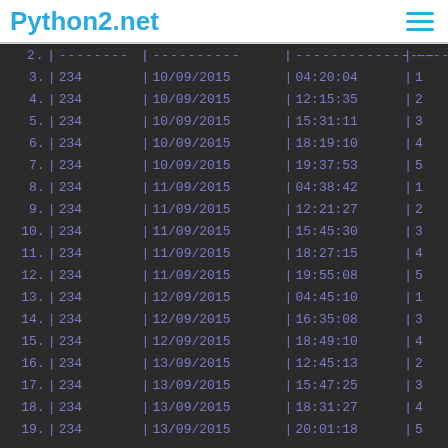Python2.net
| # | | | id | | | date | | | time | | | n |
| --- | --- | --- | --- | --- | --- | --- | --- | --- |
| 2. | | | -------- | | | ---------- | | | ---------------- | | | ------ |
| 3. | | | 234 | | | 10/09/2015 | | | 04:20:04 | | | 1 |
| 4. | | | 234 | | | 10/09/2015 | | | 12:15:35 | | | 2 |
| 5. | | | 234 | | | 10/09/2015 | | | 15:31:11 | | | 3 |
| 6. | | | 234 | | | 10/09/2015 | | | 18:19:10 | | | 4 |
| 7. | | | 234 | | | 10/09/2015 | | | 19:37:53 | | | 5 |
| 8. | | | 234 | | | 11/09/2015 | | | 04:38:42 | | | 1 |
| 9. | | | 234 | | | 11/09/2015 | | | 12:21:27 | | | 2 |
| 10. | | | 234 | | | 11/09/2015 | | | 15:45:30 | | | 3 |
| 11. | | | 234 | | | 11/09/2015 | | | 18:27:15 | | | 4 |
| 12. | | | 234 | | | 11/09/2015 | | | 19:55:08 | | | 5 |
| 13. | | | 234 | | | 12/09/2015 | | | 04:45:10 | | | 1 |
| 14. | | | 234 | | | 12/09/2015 | | | 16:35:08 | | | 3 |
| 15. | | | 234 | | | 12/09/2015 | | | 18:49:10 | | | 4 |
| 16. | | | 234 | | | 13/09/2015 | | | 12:45:13 | | | 2 |
| 17. | | | 234 | | | 13/09/2015 | | | 15:47:25 | | | 3 |
| 18. | | | 234 | | | 13/09/2015 | | | 18:31:27 | | | 4 |
| 19. | | | 234 | | | 13/09/2015 | | | 20:01:18 | | | 5 |